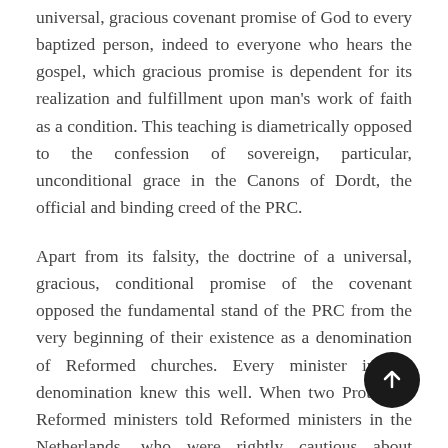universal, gracious covenant promise of God to every baptized person, indeed to everyone who hears the gospel, which gracious promise is dependent for its realization and fulfillment upon man's work of faith as a condition. This teaching is diametrically opposed to the confession of sovereign, particular, unconditional grace in the Canons of Dordt, the official and binding creed of the PRC.
Apart from its falsity, the doctrine of a universal, gracious, conditional promise of the covenant opposed the fundamental stand of the PRC from the very beginning of their existence as a denomination of Reformed churches. Every minister in the denomination knew this well. When two Protestant Reformed ministers told Reformed ministers in the Netherlands, who were rightly cautious about sending their emigrating members to the PRC, that the PRC had no definite covenant conception, they lied. Their lie was believable.